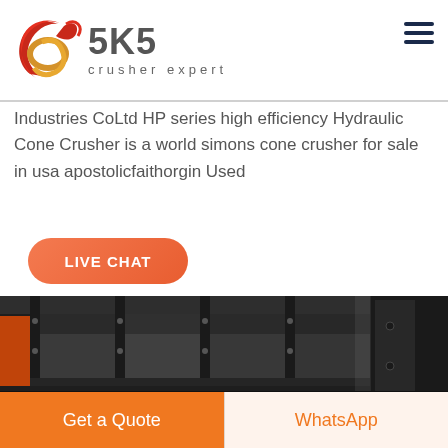[Figure (logo): SKS Crusher Expert logo with red swirl graphic and grey SKS text with 'crusher expert' tagline below]
Industries CoLtd HP series high efficiency Hydraulic Cone Crusher is a world simons cone crusher for sale in usa apostolicfaithorgin Used
[Figure (other): Orange rounded rectangle LIVE CHAT button]
[Figure (photo): Photo of industrial crusher machinery - dark metal box/frame structure with bolts and compartments]
[Figure (other): Bottom bar with two buttons: orange 'Get a Quote' button and light 'WhatsApp' button with orange text]